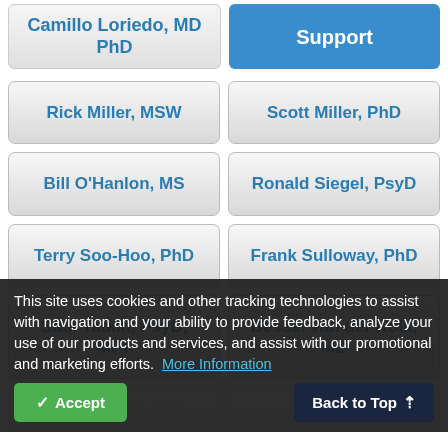Camillo Loriedo, MD PhD
Lyons, LICSW (Support button)
Rick Miller, MSW
Scott Miller, PhD
Bill O'Hanlon, MS
Ronald Siegel, PsyD
Terry Soo-Hoo, PhD
Frank Sulloway, PhD
Stan Tatkin, PsyD, MFT
Bessel van der Kolk, MD
Michael Yapko, PhD
Jeffrey (partially visible)
This site uses cookies and other tracking technologies to assist with navigation and your ability to provide feedback, analyze your use of our products and services, and assist with our promotional and marketing efforts. More Information
Accept
Back to Top